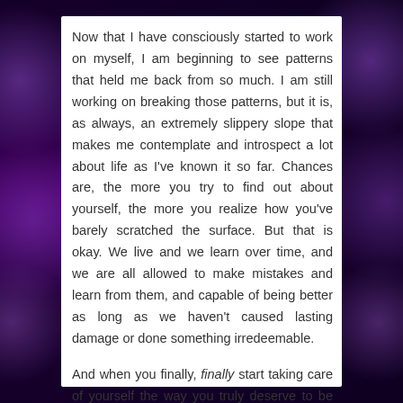Now that I have consciously started to work on myself, I am beginning to see patterns that held me back from so much. I am still working on breaking those patterns, but it is, as always, an extremely slippery slope that makes me contemplate and introspect a lot about life as I've known it so far. Chances are, the more you try to find out about yourself, the more you realize how you've barely scratched the surface. But that is okay. We live and we learn over time, and we are all allowed to make mistakes and learn from them, and capable of being better as long as we haven't caused lasting damage or done something irredeemable.
And when you finally, finally start taking care of yourself the way you truly deserve to be cared for, you realize that you don't really want to go back to